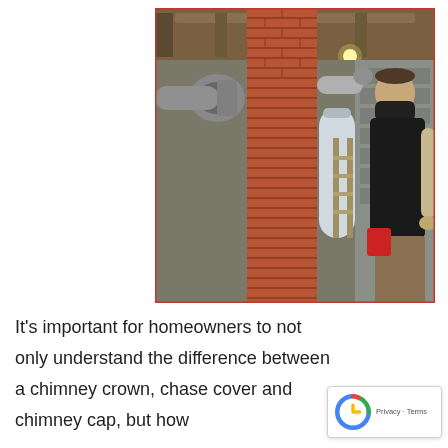[Figure (photo): A person wearing a black mask and dark vest stands in a basement next to a brick chimney column with metal HVAC pipes attached to it, and a cylindrical white water heater nearby. The basement has exposed ceiling joists and concrete block walls.]
It's important for homeowners to not only understand the difference between a chimney crown, chase cover and chimney cap, but how